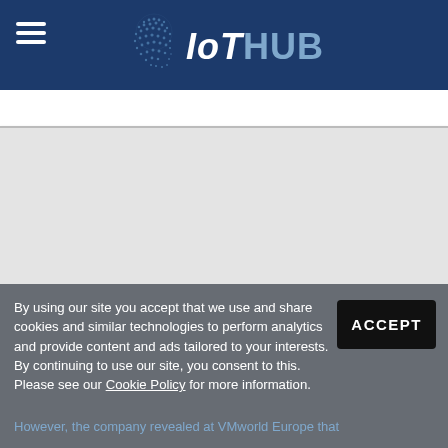IoTHUB
[Figure (logo): IoTHUB logo with globe icon made of dots, white and blue text on dark blue header bar]
By using our site you accept that we use and share cookies and similar technologies to perform analytics and provide content and ads tailored to your interests. By continuing to use our site, you consent to this. Please see our Cookie Policy for more information.
However, the company revealed at VMworld Europe that